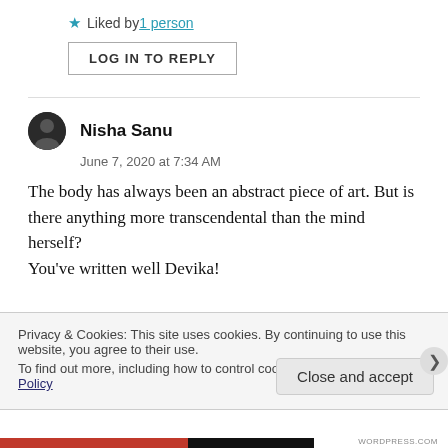★ Liked by 1 person
LOG IN TO REPLY
Nisha Sanu
June 7, 2020 at 7:34 AM
The body has always been an abstract piece of art. But is there anything more transcendental than the mind herself?
You've written well Devika!
Privacy & Cookies: This site uses cookies. By continuing to use this website, you agree to their use.
To find out more, including how to control cookies, see here: Cookie Policy
Close and accept